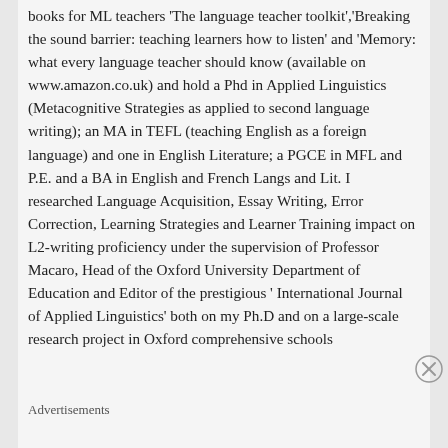books for ML teachers 'The language teacher toolkit','Breaking the sound barrier: teaching learners how to listen' and 'Memory: what every language teacher should know (available on www.amazon.co.uk) and hold a Phd in Applied Linguistics (Metacognitive Strategies as applied to second language writing); an MA in TEFL (teaching English as a foreign language) and one in English Literature; a PGCE in MFL and P.E. and a BA in English and French Langs and Lit. I researched Language Acquisition, Essay Writing, Error Correction, Learning Strategies and Learner Training impact on L2-writing proficiency under the supervision of Professor Macaro, Head of the Oxford University Department of Education and Editor of the prestigious ' International Journal of Applied Linguistics' both on my Ph.D and on a large-scale research project in Oxford comprehensive schools
Advertisements